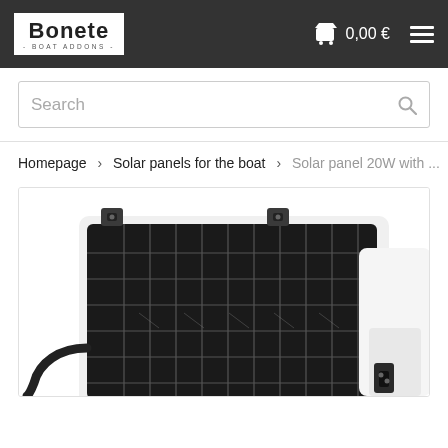Bonete - BOAT ADDONS - | 0,00 € | Menu
Search
Homepage > Solar panels for the boat > Solar panel 20W with ...
[Figure (photo): Product photo showing a 20W solar panel with mounting brackets and a partially visible second product (a solar panel stand/mount) on the right. The solar panel has a dark photovoltaic grid surface with a white frame and a cable coming out of the left side.]